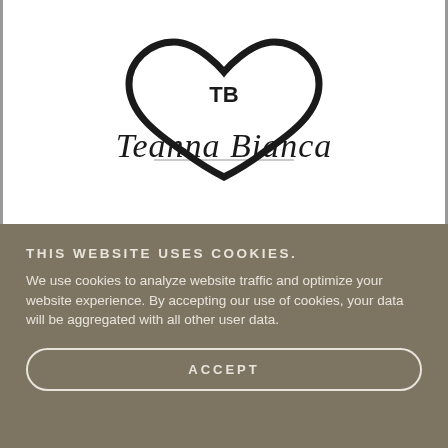[Figure (logo): Teanna Bianca logo featuring a heart shape with TB initials and cursive 'Teanna Bianca' text below]
THIS WEBSITE USES COOKIES.
We use cookies to analyze website traffic and optimize your website experience. By accepting our use of cookies, your data will be aggregated with all other user data.
ACCEPT